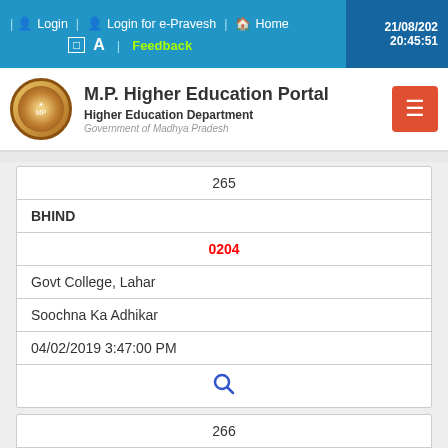Login | Login for e-Pravesh | Home | 21/08/202 20:45:51 | A | Feedback
[Figure (logo): M.P. Higher Education Portal logo with emblem]
M.P. Higher Education Portal
Higher Education Department
Government of Madhya Pradesh
| 265 |
| BHIND |
| 0204 |
| Govt College, Lahar |
| Soochna Ka Adhikar |
| 04/02/2019 3:47:00 PM |
| 🔍 |
| 266 |
| DHAR |
| 2207 |
| Govt College, Dharampuri |